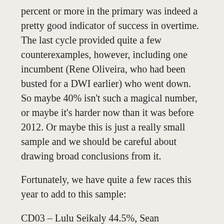percent or more in the primary was indeed a pretty good indicator of success in overtime. The last cycle provided quite a few counterexamples, however, including one incumbent (Rene Oliveira, who had been busted for a DWI earlier) who went down. So maybe 40% isn't such a magical number, or maybe it's harder now than it was before 2012. Or maybe this is just a really small sample and we should be careful about drawing broad conclusions from it.
Fortunately, we have quite a few races this year to add to this sample:
CD03 – Lulu Seikaly 44.5%, Sean McCaffity 43.8%
CD10 – Mike Siegel 44.0%, Pritesh Gandhi 33.1%
CD13 – Gus Trujillo 42.2%, Greg Sagan 34.7%
CD17 – Rick Kennedy 47.9%, David Jaramillo 35.0%
CD24 – Kim Olson 40.9%, Candace Valenzuela 30.4%